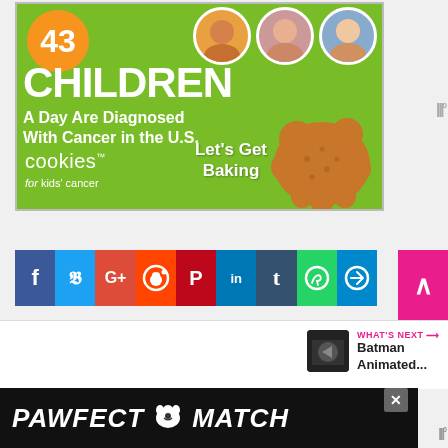[Figure (infographic): Green advertisement banner for 'Cookies for Kids' Cancer' charity. Shows '43 Children A Day Are Diagnosed With Cancer in the U.S.' with children profile photos and a cookie shape. Text 'Let's Get Baking' on right side.]
[Figure (infographic): Social media share buttons bar including Facebook, Twitter, Google+, Reddit, Pinterest, LinkedIn, Tumblr, WhatsApp, and Telegram icons.]
[Figure (infographic): Pink scroll-to-top arrow button on right side.]
[Figure (infographic): WHAT'S NEXT section showing Batman Animated thumbnail and text.]
[Figure (infographic): Black bottom banner advertisement reading 'PAWFECT MATCH' with a cat logo.]